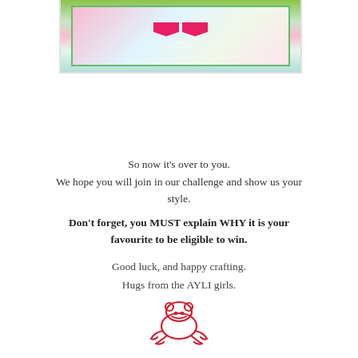[Figure (photo): Craft card photo showing a handmade card with green floral border, pink banner flags, and decorative elements. Watermark text reads '2x2 As You Like It'.]
So now it's over to you.
We hope you will join in our challenge and show us your style.
Don't forget, you MUST explain WHY it is your favourite to be eligible to win.

Good luck, and happy crafting.
Hugs from the AYLI girls.
[Figure (logo): Red line-art frog logo at the bottom center of the page.]